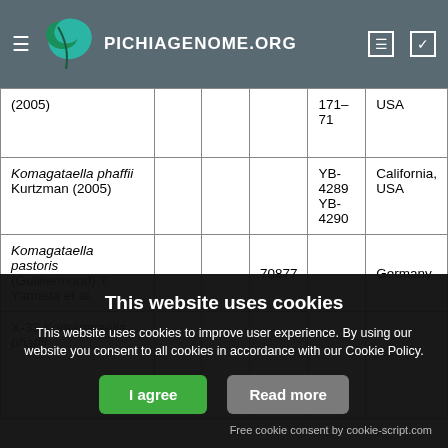PICHIAGENOME.ORG
| (2005) |  |  |  | 171–71 | USA |
| Komagataella phaffii Kurtzman (2005) |  |  |  | YB-4289 YB-4290 | California, USA |
| Komagataella pastoris (Guilliermond) Y. Yamada et al. |  |  | 70877 |  | Germany |
| X-33 Komagataella phaffii |  |  |  |  |  |
This website uses cookies
This website uses cookies to improve user experience. By using our website you consent to all cookies in accordance with our Cookie Policy.
I agree   Read more
Free cookie consent by cookie-script.com